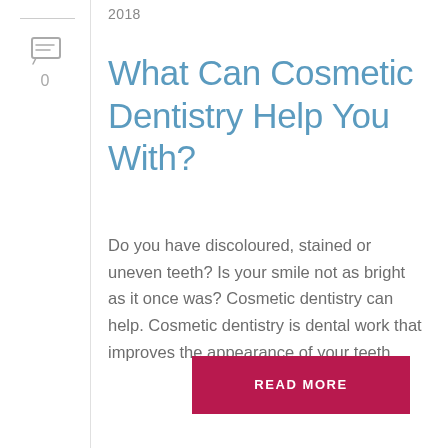2018
What Can Cosmetic Dentistry Help You With?
Do you have discoloured, stained or uneven teeth? Is your smile not as bright as it once was? Cosmetic dentistry can help. Cosmetic dentistry is dental work that improves the appearance of your teeth.
READ MORE